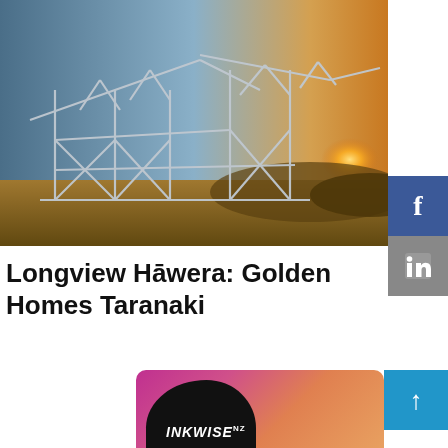[Figure (photo): Steel frame structure of a house under construction at sunset/golden hour, with metal framing visible and bright sunlight in the background. Sky is blue-grey above, warm golden light on the right.]
Longview Hāwera: Golden Homes Taranaki
[Figure (logo): Inkwise NZ logo on a gradient pink-to-orange background, with a dark blob shape behind the text.]